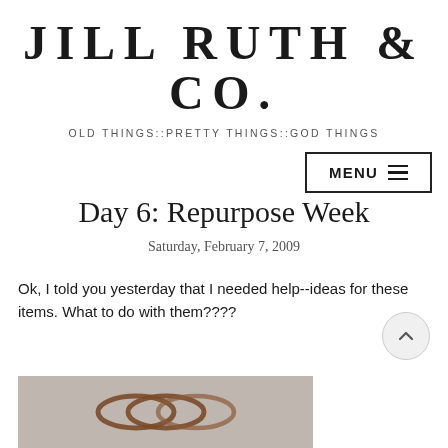JILL RUTH & CO.
OLD THINGS::PRETTY THINGS::GOD THINGS
[Figure (screenshot): Menu button with hamburger icon, bordered rectangle]
Day 6: Repurpose Week
Saturday, February 7, 2009
Ok, I told you yesterday that I needed help--ideas for these items. What to do with them????
[Figure (photo): Partial photo of coiled wire or spring on a gray background]